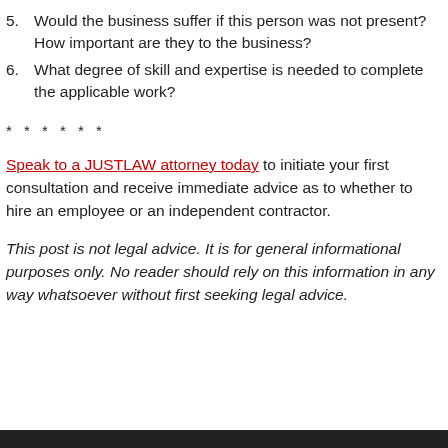5. Would the business suffer if this person was not present? How important are they to the business?
6. What degree of skill and expertise is needed to complete the applicable work?
* * * * * *
Speak to a JUSTLAW attorney today to initiate your first consultation and receive immediate advice as to whether to hire an employee or an independent contractor.
This post is not legal advice. It is for general informational purposes only. No reader should rely on this information in any way whatsoever without first seeking legal advice.